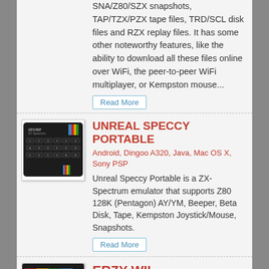SNA/Z80/SZX snapshots, TAP/TZX/PZX tape files, TRD/SCL disk files and RZX replay files. It has some other noteworthy features, like the ability to download all these files online over WiFi, the peer-to-peer WiFi multiplayer, or Kempston mouse...
Read More
UNREAL SPECCY PORTABLE
Android, Dingoo A320, Java, Mac OS X, Sony PSP
[Figure (photo): ZX Spectrum computer keyboard image showing Sinclair ZX Spectrum with rainbow logo]
Unreal Speccy Portable is a ZX-Spectrum emulator that supports Z80 128K (Pentagon) AY/YM, Beeper, Beta Disk, Tape, Kempston Joystick/Mouse, Snapshots.
Read More
ERZY WII